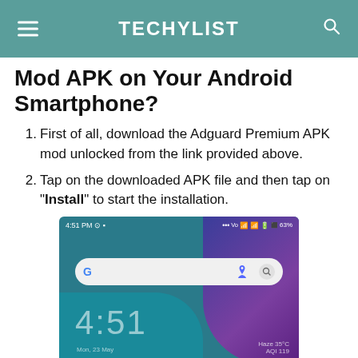TECHYLIST
Mod APK on Your Android Smartphone?
First of all, download the Adguard Premium APK mod unlocked from the link provided above.
Tap on the downloaded APK file and then tap on “Install” to start the installation.
[Figure (screenshot): Android smartphone home screen showing time 4:51 PM, Google search bar, large clock showing 4:51, date Mon 23 May, weather Haze 35°C AQI 119, battery 63%]